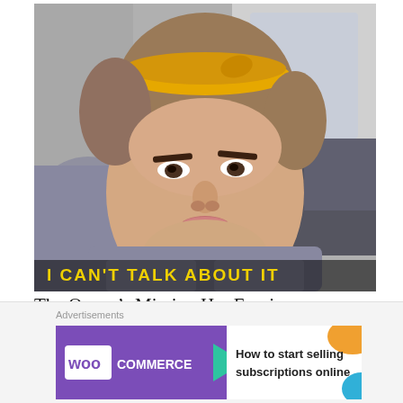[Figure (photo): Woman with yellow headband in a car, looking slightly to the side. Text overlay at bottom reads 'I CAN'T TALK ABOUT IT' in yellow letters.]
The Queen's Missing Her Empire
Aug 12, 2022
Advertisements
[Figure (other): WooCommerce advertisement banner: 'How to start selling subscriptions online']